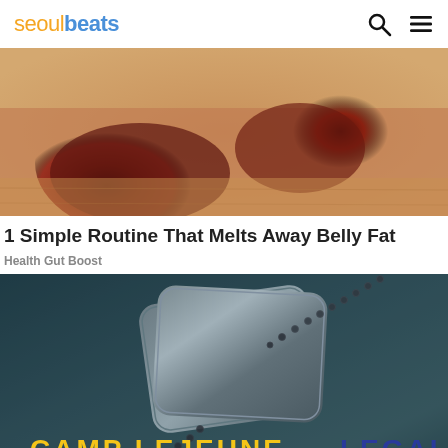seoulbeats
[Figure (photo): Close-up food photo showing dark reddish-brown food items (possibly beets or glazed meat) on a wooden surface]
1 Simple Routine That Melts Away Belly Fat
Health Gut Boost
[Figure (photo): Advertisement image with dark teal/leather background with military dog tags on a chain, text reads CAMP LEJEUNE LEGAL]